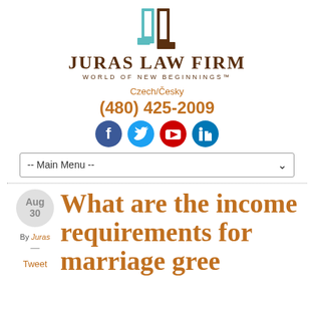[Figure (logo): Juras Law Firm logo: two stylized letter shapes in teal and brown, above firm name]
JURAS LAW FIRM
WORLD OF NEW BEGINNINGS™
Czech/Česky
(480) 425-2009
[Figure (infographic): Social media icons: Facebook, Twitter, YouTube, LinkedIn]
-- Main Menu --
Aug 30
By Juras
Tweet
What are the income requirements for marriage green